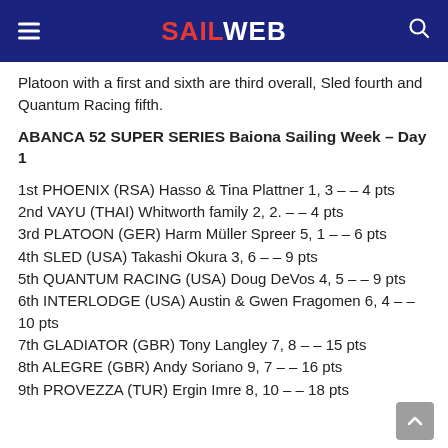SAILWEB
Platoon with a first and sixth are third overall, Sled fourth and Quantum Racing fifth.
ABANCA 52 SUPER SERIES Baiona Sailing Week – Day 1
1st PHOENIX (RSA) Hasso & Tina Plattner 1, 3 – – 4 pts
2nd VAYU (THAI) Whitworth family 2, 2. – – 4 pts
3rd PLATOON (GER) Harm Müller Spreer 5, 1 – – 6 pts
4th SLED (USA) Takashi Okura 3, 6 – – 9 pts
5th QUANTUM RACING (USA) Doug DeVos 4, 5 – – 9 pts
6th INTERLODGE (USA) Austin & Gwen Fragomen 6, 4 – – 10 pts
7th GLADIATOR (GBR) Tony Langley 7, 8 – – 15 pts
8th ALEGRE (GBR) Andy Soriano 9, 7 – – 16 pts
9th PROVEZZA (TUR) Ergin Imre 8, 10 – – 18 pts